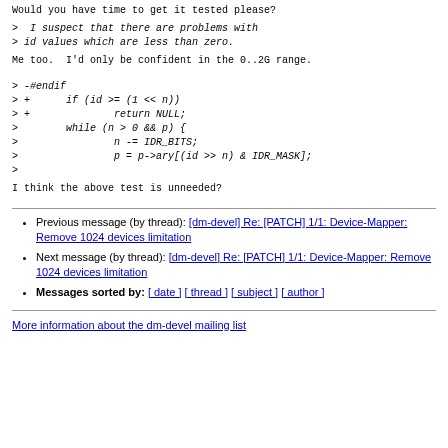Would you have time to get it tested please?
>  I suspect that there are problems with
> id values which are less than zero.
Me too.  I'd only be confident in the 0..2G range.
> -#endif
> +      if (id >= (1 << n))
> +              return NULL;
>        while (n > 0 && p) {
>                n -= IDR_BITS;
>                p = p->ary[(id >> n) & IDR_MASK];
>
I think the above test is unneeded?
Previous message (by thread): [dm-devel] Re: [PATCH] 1/1: Device-Mapper: Remove 1024 devices limitation
Next message (by thread): [dm-devel] Re: [PATCH] 1/1: Device-Mapper: Remove 1024 devices limitation
Messages sorted by: [ date ] [ thread ] [ subject ] [ author ]
More information about the dm-devel mailing list